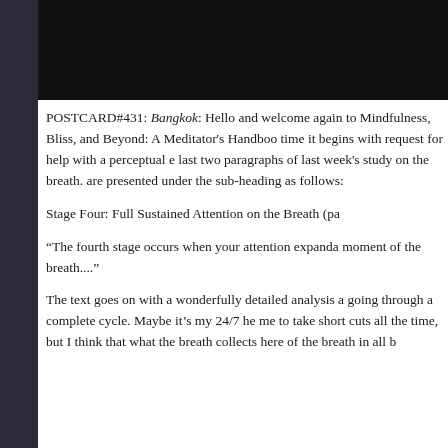[Figure (photo): Dark/black image at top of page, appears to be a photograph with very dark tones]
POSTCARD#431: Bangkok: Hello and welcome again to Mindfulness, Bliss, and Beyond: A Meditator's Handbook, time it begins with request for help with a perceptual e last two paragraphs of last week's study on the breath. are presented under the sub-heading as follows:
Stage Four: Full Sustained Attention on the Breath (pa
“The fourth stage occurs when your attention expanda moment of the breath....”
The text goes on with a wonderfully detailed analysis a going through a complete cycle. Maybe it’s my 24/7 he me to take short cuts all the time, but I think that what the breath collects here of the breath in all b